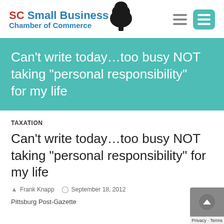[Figure (logo): SC Small Business Chamber of Commerce logo with tree silhouette]
Can’t write today…too busy NOT taking “personal responsibility” for my life
TAXATION
Can’t write today…too busy NOT taking “personal responsibility” for my life
Frank Knapp   September 18, 2012
Pittsburg Post-Gazette